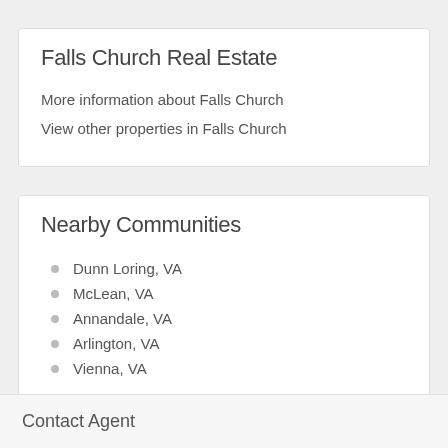Falls Church Real Estate
More information about Falls Church
View other properties in Falls Church
Nearby Communities
Dunn Loring, VA
McLean, VA
Annandale, VA
Arlington, VA
Vienna, VA
Contact Agent